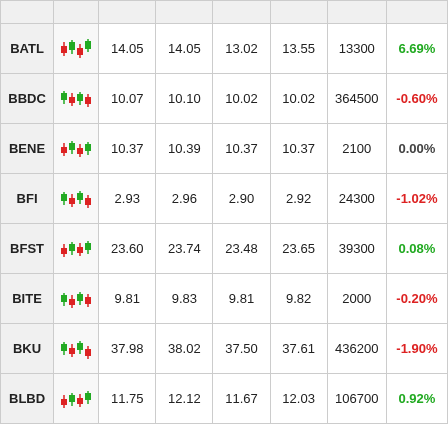| Symbol | Chart | Open | High | Low | Close | Volume | Change% |
| --- | --- | --- | --- | --- | --- | --- | --- |
| BATL | [chart] | 14.05 | 14.05 | 13.02 | 13.55 | 13300 | 6.69% |
| BBDC | [chart] | 10.07 | 10.10 | 10.02 | 10.02 | 364500 | -0.60% |
| BENE | [chart] | 10.37 | 10.39 | 10.37 | 10.37 | 2100 | 0.00% |
| BFI | [chart] | 2.93 | 2.96 | 2.90 | 2.92 | 24300 | -1.02% |
| BFST | [chart] | 23.60 | 23.74 | 23.48 | 23.65 | 39300 | 0.08% |
| BITE | [chart] | 9.81 | 9.83 | 9.81 | 9.82 | 2000 | -0.20% |
| BKU | [chart] | 37.98 | 38.02 | 37.50 | 37.61 | 436200 | -1.90% |
| BLBD | [chart] | 11.75 | 12.12 | 11.67 | 12.03 | 106700 | 0.92% |